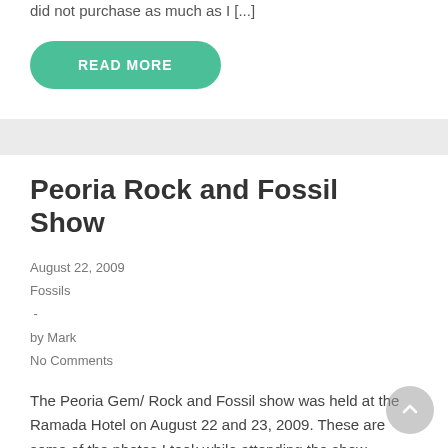did not purchase as much as I [...]
READ MORE
Peoria Rock and Fossil Show
August 22, 2009
Fossils
-
by Mark
No Comments
The Peoria Gem/ Rock and Fossil show was held at the Ramada Hotel on August 22 and 23, 2009. These are some of the photos I took while attending the show. Thought you might enjoy seeing these. Lots of interesting specimens on